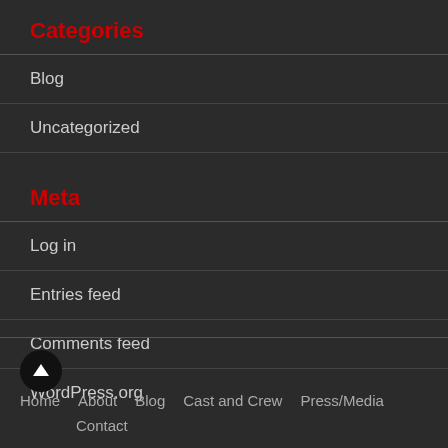Categories
Blog
Uncategorized
Meta
Log in
Entries feed
Comments feed
WordPress.org
Home  About  Blog  Cast and Crew  Press/Media  Contact